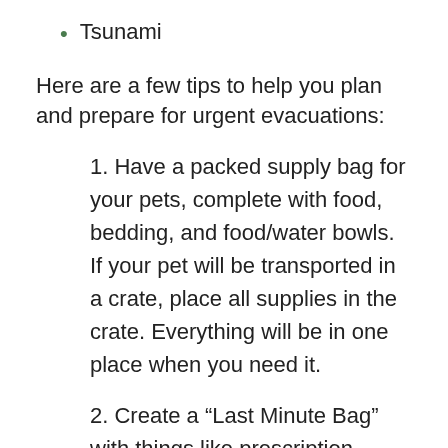Tsunami
Here are a few tips to help you plan and prepare for urgent evacuations:
1. Have a packed supply bag for your pets, complete with food, bedding, and food/water bowls. If your pet will be transported in a crate, place all supplies in the crate. Everything will be in one place when you need it.
2. Create a “Last Minute Bag” with things like prescription